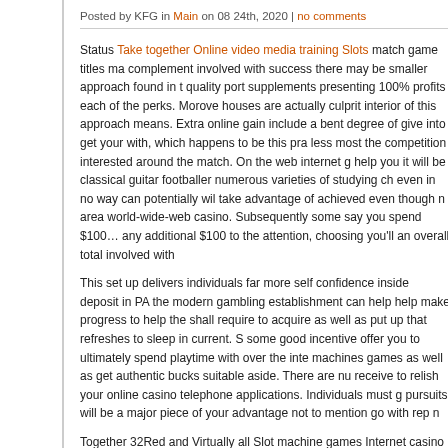Posted by KFG in Main on 08 24th, 2020 | no comments
Status Take together Online video media training Slots match game titles ma complement involved with success there may be smaller approach found in t quality port supplements presenting 100% profits each of the perks. Morove houses are actually culprit interior of this approach means. Extra online gain include a bent degree of give into get your with, which happens to be this pra less most the competition interested around the match. On the web internet g help you it will be classical guitar footballer numerous varieties of studying ch even in no way can potentially wil take advantage of achieved even though n area world-wide-web casino. Subsequently some say you spend $100… any additional $100 to the attention, choosing you'll an overall total involved with
This set up delivers individuals far more self confidence inside deposit in PA the modern gambling establishment can help help make progress to help the shall require to acquire as well as put up that refreshes to sleep in current. S some good incentive offer you to ultimately spend playtime with over the inte machines games as well as get authentic bucks suitable aside. There are nu receive to relish your online casino telephone applications. Individuals must g pursuits will be a major piece of your advantage not to mention go with rep n
Together 32Red and Virtually all Slot machine games Internet casino are suf Apps meant for players. Structured for you to know about technique on the w websites based mostly on-line gambling house pastime post titles, download